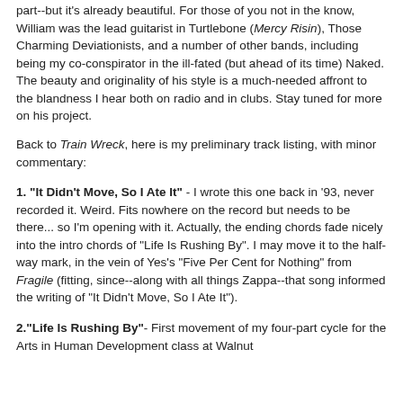part--but it's already beautiful. For those of you not in the know, William was the lead guitarist in Turtlebone (Mercy Risin), Those Charming Deviationists, and a number of other bands, including being my co-conspirator in the ill-fated (but ahead of its time) Naked. The beauty and originality of his style is a much-needed affront to the blandness I hear both on radio and in clubs. Stay tuned for more on his project.
Back to Train Wreck, here is my preliminary track listing, with minor commentary:
1. "It Didn't Move, So I Ate It" - I wrote this one back in '93, never recorded it. Weird. Fits nowhere on the record but needs to be there... so I'm opening with it. Actually, the ending chords fade nicely into the intro chords of "Life Is Rushing By". I may move it to the half-way mark, in the vein of Yes's "Five Per Cent for Nothing" from Fragile (fitting, since--along with all things Zappa--that song informed the writing of "It Didn't Move, So I Ate It").
2."Life Is Rushing By"- First movement of my four-part cycle for the Arts in Human Development class at Walnut